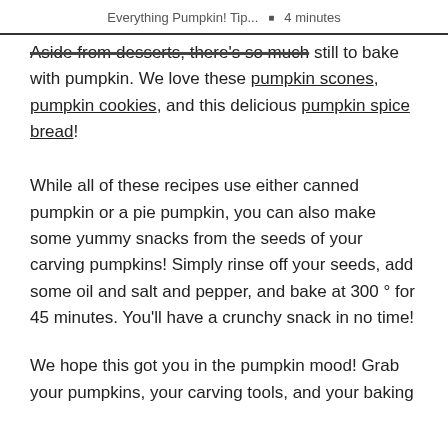Everything Pumpkin! Tip... • 4 minutes
Aside from desserts, there's so much still to bake with pumpkin. We love these pumpkin scones, pumpkin cookies, and this delicious pumpkin spice bread!
While all of these recipes use either canned pumpkin or a pie pumpkin, you can also make some yummy snacks from the seeds of your carving pumpkins! Simply rinse off your seeds, add some oil and salt and pepper, and bake at 300 ° for 45 minutes. You'll have a crunchy snack in no time!
We hope this got you in the pumpkin mood! Grab your pumpkins, your carving tools, and your baking